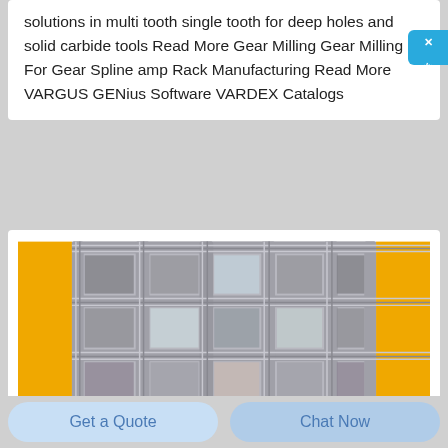solutions in multi tooth single tooth for deep holes and solid carbide tools Read More Gear Milling Gear Milling For Gear Spline amp Rack Manufacturing Read More VARGUS GENius Software VARDEX Catalogs
[Figure (photo): Close-up photograph of a metallic wire mesh or welded mesh panel with square grid pattern, shown with yellow background borders on left and right sides. The mesh appears to be made of braided or twisted steel wire.]
Get a Quote
Chat Now